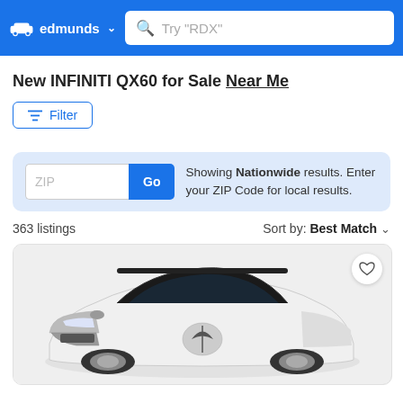edmunds — Search bar: Try "RDX"
New INFINITI QX60 for Sale Near Me
Filter
ZIP — Go — Showing Nationwide results. Enter your ZIP Code for local results.
363 listings — Sort by: Best Match
[Figure (photo): White INFINITI QX60 SUV front three-quarter view with heart/favorite button in top right corner of card]